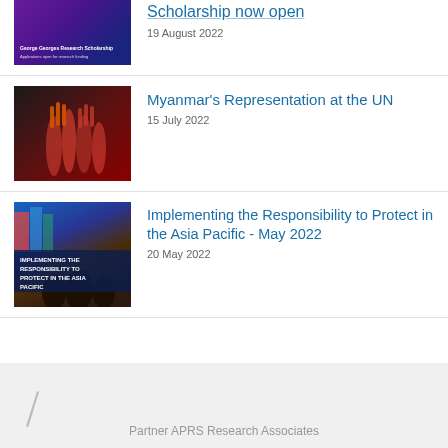[Figure (photo): Purple and blue scholarship poster thumbnail (partially visible at top)]
19 August 2022
[Figure (photo): Hands raised in three-finger salute protest, Myanmar-related imagery]
Myanmar's Representation at the UN
15 July 2022
[Figure (photo): Book cover: Implementing the Responsibility to Protect in the Asia Pacific, with soldier statues]
Implementing the Responsibility to Protect in the Asia Pacific - May 2022
20 May 2022